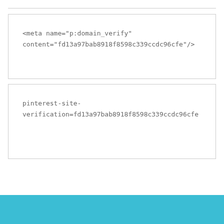<meta name="p:domain_verify" content="fd13a97bab8918f8598c339ccdc96cfe"/>
pinterest-site-verification=fd13a97bab8918f8598c339ccdc96cfe